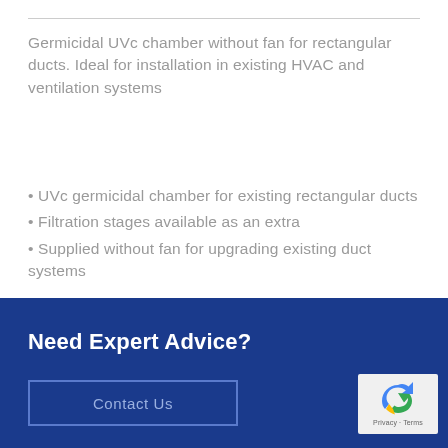Germicidal UVc chamber without fan for rectangular ducts. Ideal for installation in existing HVAC and ventilation systems
UVc germicidal chamber for existing rectangular ducts
Filtration stages available as an extra
Supplied without fan for upgrading existing duct systems
Need Expert Advice?
Contact Us